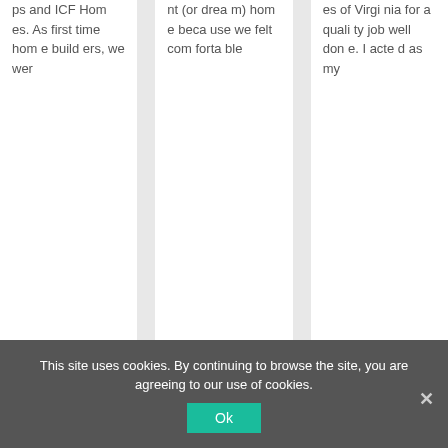ps and ICF Homes. As first time home builders, we wer
nt (or dream) home because we felt comfortable
es of Virginia for a quality job well done. I acted as my
This site uses cookies. By continuing to browse the site, you are agreeing to our use of cookies.
Ok